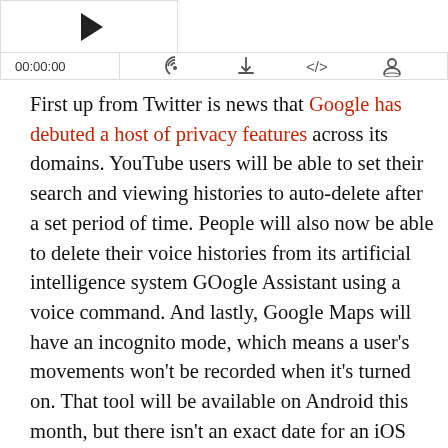[Figure (screenshot): Podcast/audio player UI with thumbnail, play button, timestamp 00:00:00, and icons for subscribe, download, embed, and user]
First up from Twitter is news that Google has debuted a host of privacy features across its domains. YouTube users will be able to set their search and viewing histories to auto-delete after a set period of time. People will also now be able to delete their voice histories from its artificial intelligence system GOogle Assistant using a voice command. And lastly, Google Maps will have an incognito mode, which means a user's movements won't be recorded when it's turned on. That tool will be available on Android this month, but there isn't an exact date for an iOS launch just yet.
Next up from Reddit … "Alexa, find me a job". Yup you heard that right. Amazon's Alexa and Google Assistant